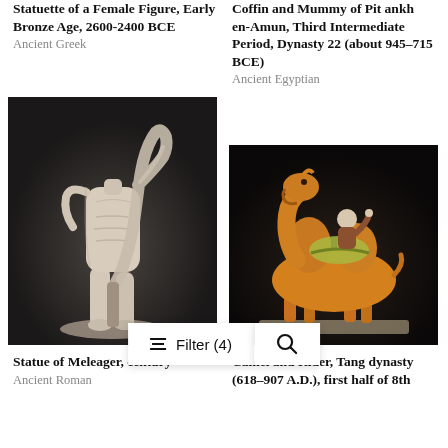Statuette of a Female Figure, Early Bronze Age, 2600-2400 BCE
Ancient Greek
Coffin and Mummy of Pit ankh en-Amun, Third Intermediate Period, Dynasty 22 (about 945–715 BCE)
Ancient Egyptian
[Figure (photo): Headless marble male torso statue (Statue of Meleager) against dark background]
[Figure (photo): Ceramic camel and rider figurine (Tang dynasty) against dark background]
Statue of Meleager, century
Ancient Roman
Camel and Rider, Tang dynasty (618–907 A.D.), first half of 8th
[Figure (screenshot): Filter (4) button and search icon overlay bar]